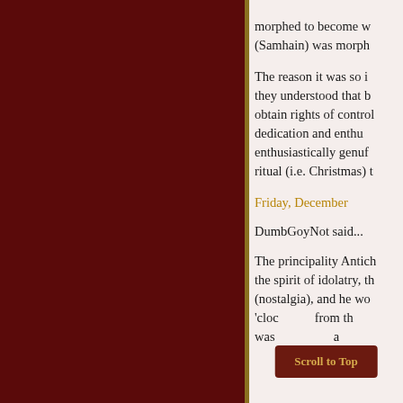morphed to become w (Samhain) was morph
The reason it was so i they understood that b obtain rights of control dedication and enthus enthusiastically genuf ritual (i.e. Christmas) t
Friday, December
DumbGoyNot said...
The principality Antich the spirit of idolatry, th (nostalgia), and he wo 'cloc from th was somehow also a